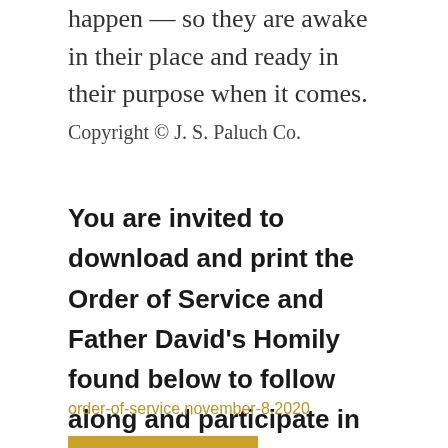happen — so they are awake in their place and ready in their purpose when it comes.
Copyright © J. S. Paluch Co.
You are invited to download and print the Order of Service and Father David's Homily found below to follow along and participate in this weekend's Mass.
order-of-service.november-8.2020